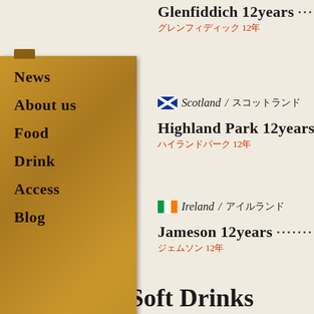Glenfiddich 12years ……………………………………… 70
グレンフィディック 12年
🏴󠁧󠁢󠁳󠁣󠁴󠁿 Scotland / スコットランド
Highland Park 12years ……………………………………… 70
ハイランドパーク 12年
🇮🇪 Ireland / アイルランド
Jameson 12years ……………………………………… 70
ジェムソン 12年
Soft Drinks
News
About us
Food
Drink
Access
Blog
Center4 Hamburgers All Rights Reserved.